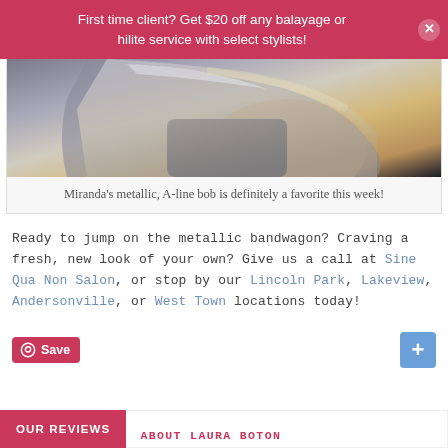First time client? Get $20 off any balayage or hilite service with select stylists!
[Figure (photo): Close-up photo of a person's metallic A-line bob hairstyle, showing silver/blonde tones against dark clothing.]
Miranda's metallic, A-line bob is definitely a favorite this week!
Ready to jump on the metallic bandwagon? Craving a fresh, new look of your own? Give us a call at Sine Qua Non Salon, or stop by our Lincoln Park, Lakeview, Andersonville, or West Town locations today!
OUR REVIEWS | ABOUT LAURA BOTON